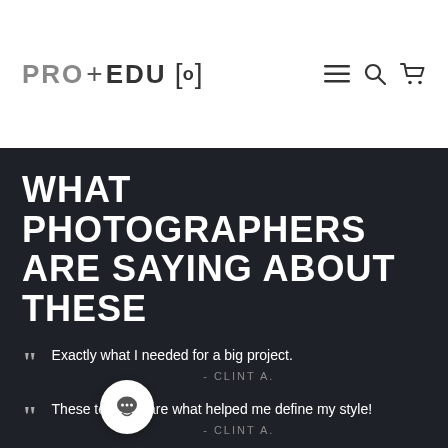PRO+EDU [o]
WHAT PHOTOGRAPHERS ARE SAYING ABOUT THESE
Exactly what I needed for a big project. - CLINT A.
These textures are what helped me define my style! - CLINT A.